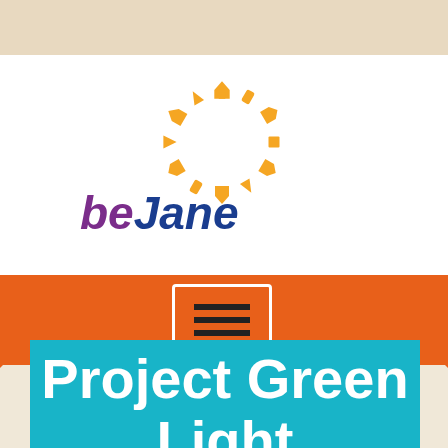[Figure (logo): beJane logo with orange circular icon made of home/tool symbols arranged in a ring, and the text 'beJane' in purple and blue italic]
[Figure (infographic): Orange navigation bar with a white-bordered hamburger menu button containing three horizontal lines]
Project Green Light
Associated Expert: Meryl Starr
Honey, Trust Me I Know What I'm Doing!